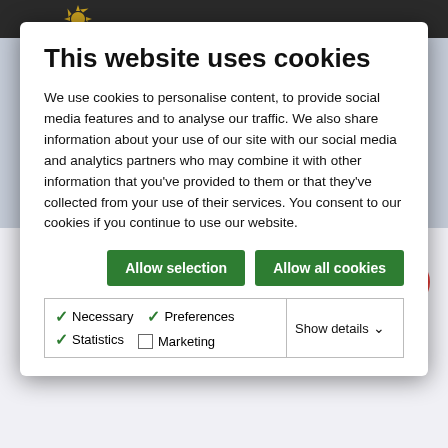This website uses cookies
We use cookies to personalise content, to provide social media features and to analyse our traffic. We also share information about your use of our site with our social media and analytics partners who may combine it with other information that you've provided to them or that they've collected from your use of their services. You consent to our cookies if you continue to use our website.
Allow selection | Allow all cookies
Necessary | Preferences | Statistics | Marketing | Show details
competition, new for 2020/21